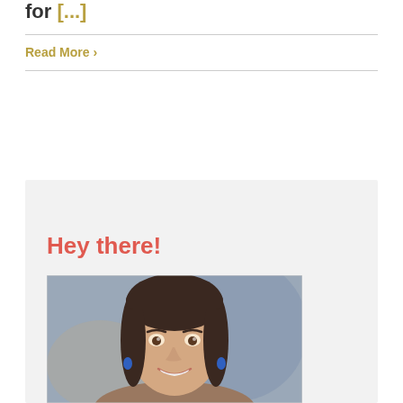for [...]
Read More >
Hey there!
[Figure (photo): Portrait photo of a smiling woman with dark hair, wearing blue earrings, photographed outdoors with a blurred background.]